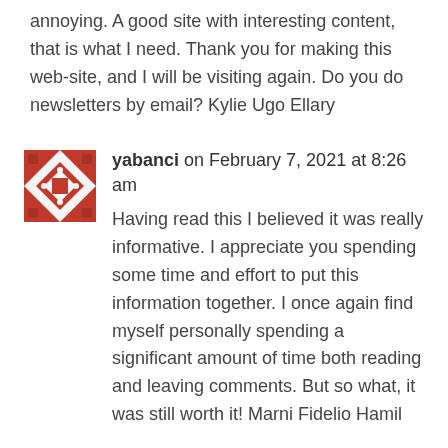annoying. A good site with interesting content, that is what I need. Thank you for making this web-site, and I will be visiting again. Do you do newsletters by email? Kylie Ugo Ellary
yabanci on February 7, 2021 at 8:26 am
Having read this I believed it was really informative. I appreciate you spending some time and effort to put this information together. I once again find myself personally spending a significant amount of time both reading and leaving comments. But so what, it was still worth it! Marni Fidelio Hamil
dizi on February 7, 2021 at 11:13 am
Some genuinely interesting info , well written and loosely user pleasant. Suzette Iain